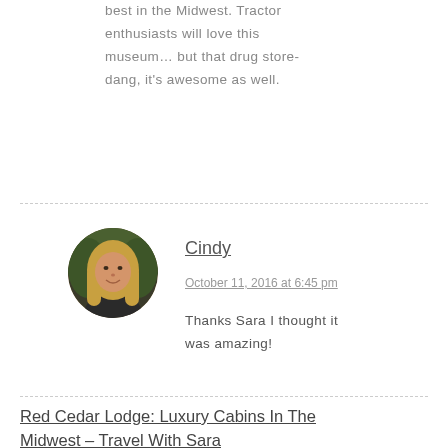best in the Midwest. Tractor enthusiasts will love this museum… but that drug store-dang, it's awesome as well.
[Figure (photo): Circular profile photo of a woman with long blonde hair]
Cindy
October 11, 2016 at 6:45 pm
Thanks Sara I thought it was amazing!
Red Cedar Lodge: Luxury Cabins In The Midwest – Travel With Sara